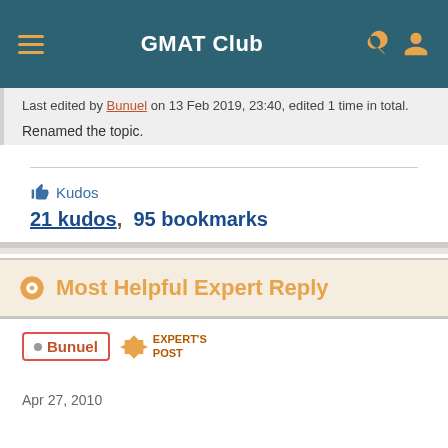GMAT Club
Last edited by Bunuel on 13 Feb 2019, 23:40, edited 1 time in total.
Renamed the topic.
👍 Kudos
21 kudos,  95 bookmarks
🏅 Most Helpful Expert Reply
Bunuel  EXPERT'S POST
Apr 27, 2010